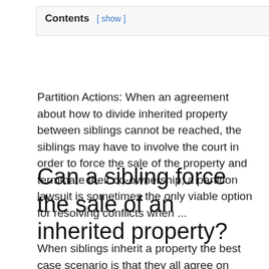Contents [ show ]
Partition Actions: When an agreement about how to divide inherited property between siblings cannot be reached, the siblings may have to involve the court in order to force the sale of the property and terminate their co-ownership; a partition lawsuit is sometimes the only viable option for resolving conflicts when ...
Can a sibling force the sale of an inherited property?
When siblings inherit a property the best case scenario is that they all agree on what